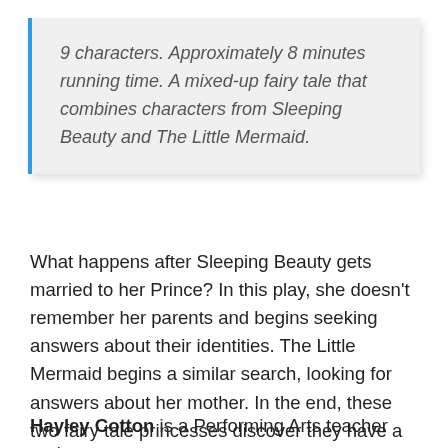9 characters. Approximately 8 minutes running time. A mixed-up fairy tale that combines characters from Sleeping Beauty and The Little Mermaid.
What happens after Sleeping Beauty gets married to her Prince? In this play, she doesn't remember her parents and begins seeking answers about their identities. The Little Mermaid begins a similar search, looking for answers about her mother. In the end, these two fairy tale princesses discover they have a lot more in common than they could've ever imagined.
Hayley Cotton is a Performing Arts teacher and